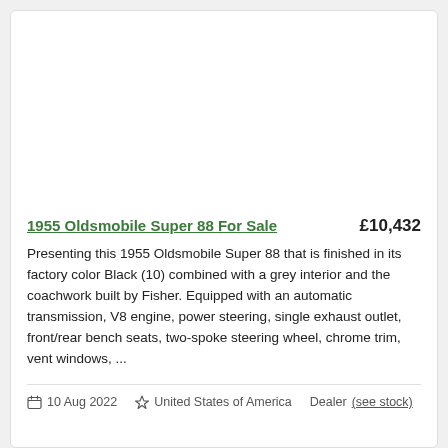[Figure (photo): Car listing image area (blank/white)]
1955 Oldsmobile Super 88 For Sale
£10,432
Presenting this 1955 Oldsmobile Super 88 that is finished in its factory color Black (10) combined with a grey interior and the coachwork built by Fisher. Equipped with an automatic transmission, V8 engine, power steering, single exhaust outlet, front/rear bench seats, two-spoke steering wheel, chrome trim, vent windows, ...
10 Aug 2022   United States of America   Dealer (see stock)